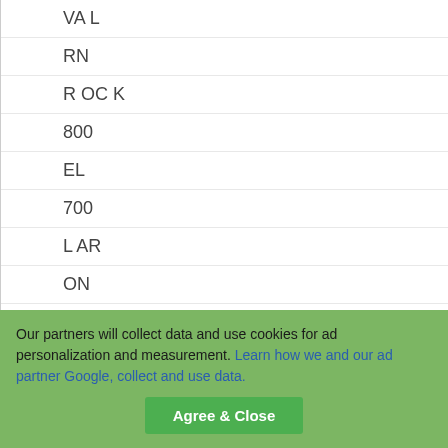VA L
RN
R OC K
800
EL
700
L AR
ON
■n
nC
Our partners will collect data and use cookies for ad personalization and measurement. Learn how we and our ad partner Google, collect and use data.
Agree & Close